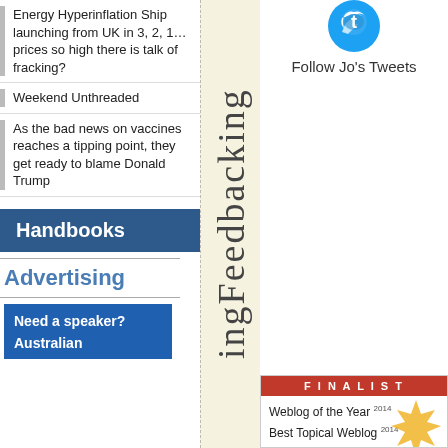Energy Hyperinflation Ship launching from UK in 3, 2, 1… prices so high there is talk of fracking?
Weekend Unthreaded
As the bad news on vaccines reaches a tipping point, they get ready to blame Donald Trump
Handbooks
Advertising
Need a speaker? Australian
[Figure (other): Vertical sidebar text reading 'ingFeedbacking' rotated 90 degrees]
[Figure (logo): Twitter bird icon (blue)]
Follow Jo's Tweets
[Figure (infographic): Finalist badge: red header with FINALIST text, gold starburst, Weblog of the Year 2014, Best Topical Weblog 2014]